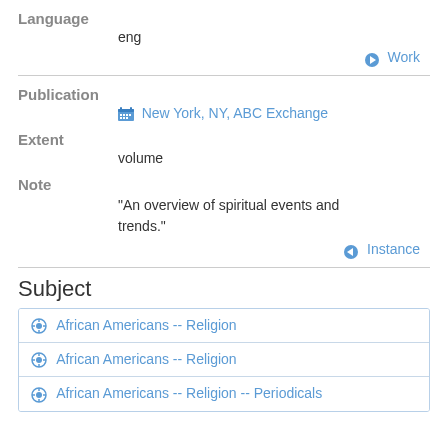Language
eng
Work
Publication
New York, NY, ABC Exchange
Extent
volume
Note
"An overview of spiritual events and trends."
Instance
Subject
African Americans -- Religion
African Americans -- Religion
African Americans -- Religion -- Periodicals